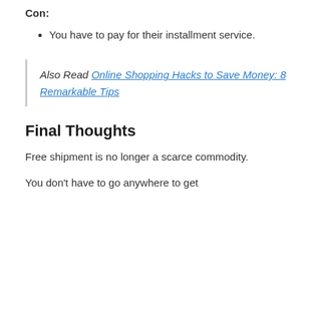Con:
You have to pay for their installment service.
Also Read Online Shopping Hacks to Save Money: 8 Remarkable Tips
Final Thoughts
Free shipment is no longer a scarce commodity.
You don't have to go anywhere to get